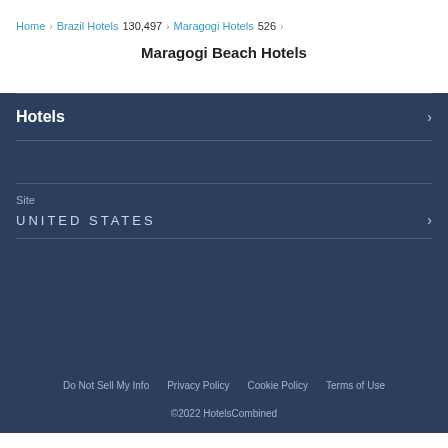Home > Brazil Hotels 130,497 > Maragogi Hotels 526 >
Maragogi Beach Hotels
Hotels
Site
UNITED STATES
Do Not Sell My Info   Privacy Policy   Cookie Policy   Terms of Use
©2022 HotelsCombined